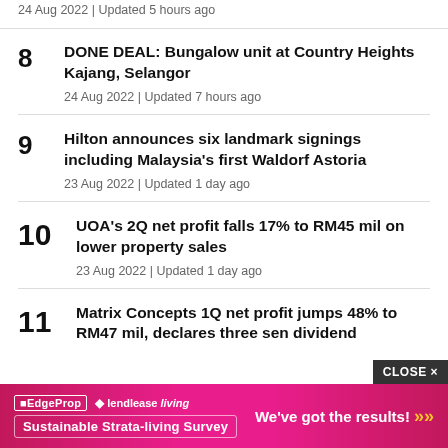24 Aug 2022 | Updated 5 hours ago
8 DONE DEAL: Bungalow unit at Country Heights Kajang, Selangor | 24 Aug 2022 | Updated 7 hours ago
9 Hilton announces six landmark signings including Malaysia's first Waldorf Astoria | 23 Aug 2022 | Updated 1 day ago
10 UOA's 2Q net profit falls 17% to RM45 mil on lower property sales | 23 Aug 2022 | Updated 1 day ago
11 Matrix Concepts 1Q net profit jumps 48% to RM47 mil, declares three sen dividend
[Figure (infographic): Advertisement banner for EdgeProp and Lendlease Living Sustainable Strata-living Survey with text 'We've got the results!']